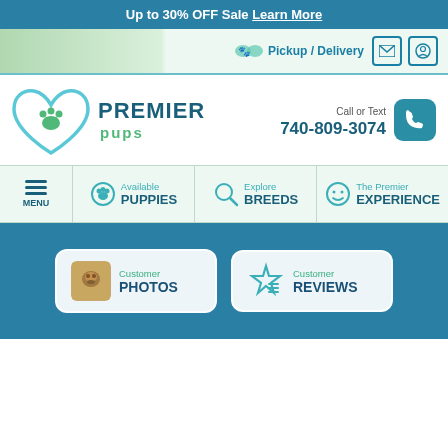Up to 30% OFF Sale Learn More
Pickup / Delivery
[Figure (logo): Premier Pups logo with heart and paw print icon]
Call or Text 740-809-3074
MENU
Available PUPPIES
Explore BREEDS
The Premier EXPERIENCE
Customer PHOTOS
Customer REVIEWS